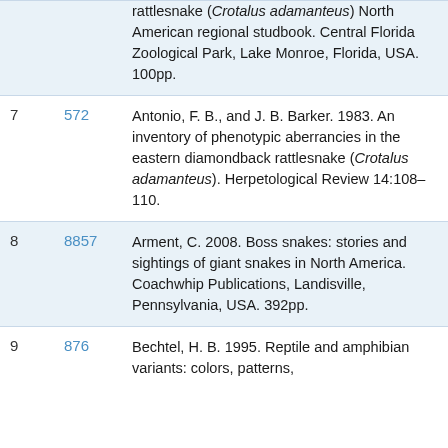| # | ID | Reference |
| --- | --- | --- |
|  | 572 (cont.) | rattlesnake (Crotalus adamanteus) North American regional studbook. Central Florida Zoological Park, Lake Monroe, Florida, USA. 100pp. |
| 7 | 572 | Antonio, F. B., and J. B. Barker. 1983. An inventory of phenotypic aberrancies in the eastern diamondback rattlesnake (Crotalus adamanteus). Herpetological Review 14:108–110. |
| 8 | 8857 | Arment, C. 2008. Boss snakes: stories and sightings of giant snakes in North America. Coachwhip Publications, Landisville, Pennsylvania, USA. 392pp. |
| 9 | 876 | Bechtel, H. B. 1995. Reptile and amphibian variants: colors, patterns, |